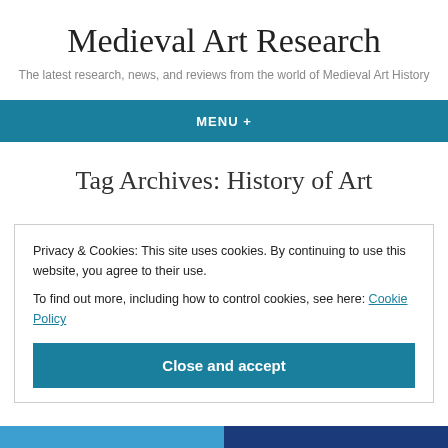Medieval Art Research
The latest research, news, and reviews from the world of Medieval Art History
MENU +
Tag Archives: History of Art
Privacy & Cookies: This site uses cookies. By continuing to use this website, you agree to their use.
To find out more, including how to control cookies, see here: Cookie Policy
Close and accept